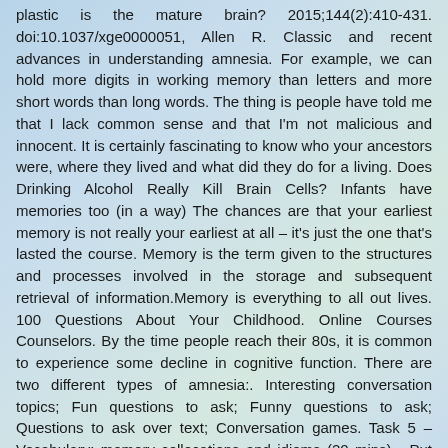plastic is the mature brain? 2015;144(2):410-431. doi:10.1037/xge0000051, Allen R. Classic and recent advances in understanding amnesia. For example, we can hold more digits in working memory than letters and more short words than long words. The thing is people have told me that I lack common sense and that I'm not malicious and innocent. It is certainly fascinating to know who your ancestors were, where they lived and what did they do for a living. Does Drinking Alcohol Really Kill Brain Cells? Infants have memories too (in a way) The chances are that your earliest memory is not really your earliest at all – it's just the one that's lasted the course. Memory is the term given to the structures and processes involved in the storage and subsequent retrieval of information.Memory is everything to all out lives. 100 Questions About Your Childhood. Online Courses Counselors. By the time people reach their 80s, it is common to experience some decline in cognitive function. There are two different types of amnesia:. Interesting conversation topics; Fun questions to ask; Funny questions to ask; Questions to ask over text; Conversation games. Task 5 – Vocabulary: memory collocations and idioms (20 mins) • Put the words memory and memories on the board. While most movie depictions of amnesia involve retrograde amnesia, anterograde amnesia is actually far more common. You've been given an elephant. Step 3 Ask students who feel comfortable to tell the rest of the class about their memories and invite questions. Verywell Mind uses only high-quality sources, including peer-reviewed studies, to support the facts within our articles. Ho...